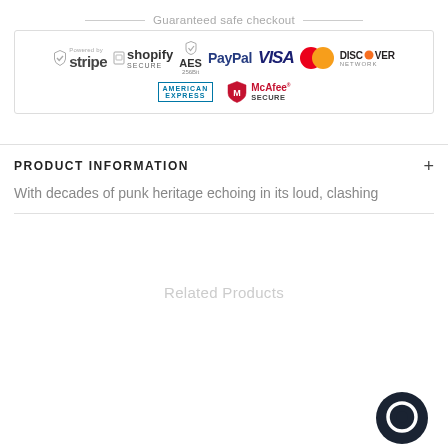[Figure (infographic): Guaranteed safe checkout banner with payment logos: stripe, shopify secure, AES 256Bit, PayPal, VISA, MasterCard, Discover Network, American Express, McAfee Secure]
PRODUCT INFORMATION
With decades of punk heritage echoing in its loud, clashing
Related Products
[Figure (other): Chat support button icon - dark circular chat bubble]